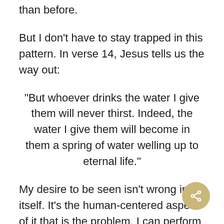than before.
But I don't have to stay trapped in this pattern. In verse 14, Jesus tells us the way out:
“But whoever drinks the water I give them will never thirst. Indeed, the water I give them will become in them a spring of water welling up to eternal life.”
My desire to be seen isn’t wrong in itself. It’s the human-centered aspect of it that is the problem. I can perform for the attention of my